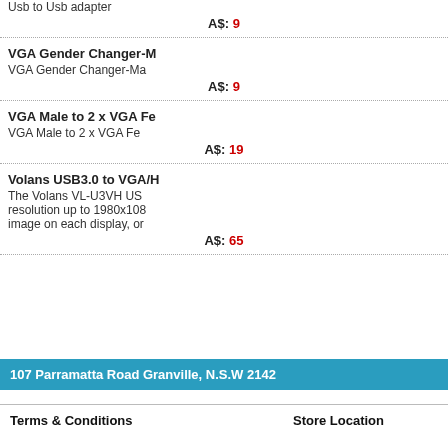Usb to Usb adapter
A$: 9
VGA Gender Changer-M
VGA Gender Changer-Ma
A$: 9
VGA Male to 2 x VGA Fe
VGA Male to 2 x VGA Fe
A$: 19
Volans USB3.0 to VGA/H
The Volans VL-U3VH US resolution up to 1980x108 image on each display, or
A$: 65
107 Parramatta Road Granville, N.S.W 2142
Terms & Conditions    Store Location